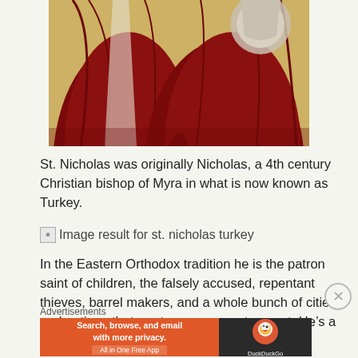[Figure (illustration): Religious icon showing two figures in dark red robes, appears to be an Eastern Orthodox style icon painting]
St. Nicholas was originally Nicholas, a 4th century Christian bishop of Myra in what is now known as Turkey.
[Figure (other): Broken image placeholder with text: Image result for st. nicholas turkey]
In the Eastern Orthodox tradition he is the patron saint of children, the falsely accused, repentant thieves, barrel makers, and a whole bunch of cities and nations that are too numerous to count. He's a pretty popular saint.
The legend goes that the bishop had a friend who had the bad luck
Advertisements
[Figure (other): DuckDuckGo advertisement banner: Search, browse, and email with more privacy. All in One Free App. DuckDuckGo logo on right side.]